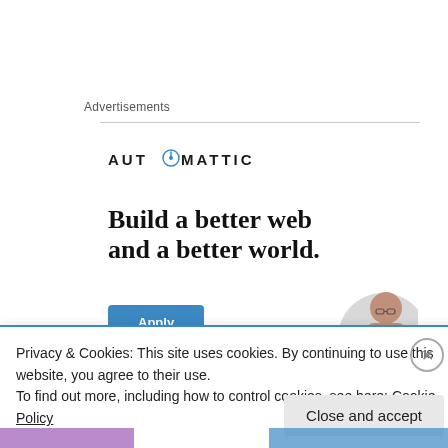Advertisements
[Figure (logo): Automattic logo with compass icon in the letter O]
Build a better web and a better world.
[Figure (photo): Partial photo of a person (head/face) on a grey circular background]
Apply
Privacy & Cookies: This site uses cookies. By continuing to use this website, you agree to their use.
To find out more, including how to control cookies, see here: Cookie Policy